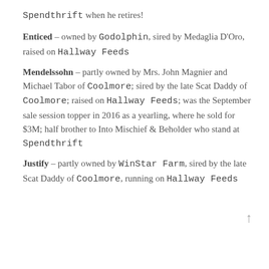Spendthrift when he retires!
Enticed – owned by Godolphin, sired by Medaglia D'Oro, raised on Hallway Feeds
Mendelssohn – partly owned by Mrs. John Magnier and Michael Tabor of Coolmore; sired by the late Scat Daddy of Coolmore; raised on Hallway Feeds;  was the September sale session topper in 2016 as a yearling, where he sold for $3M;  half brother to Into Mischief & Beholder who stand at Spendthrift
Justify – partly owned by WinStar Farm, sired by the late Scat Daddy of Coolmore, running on Hallway Feeds